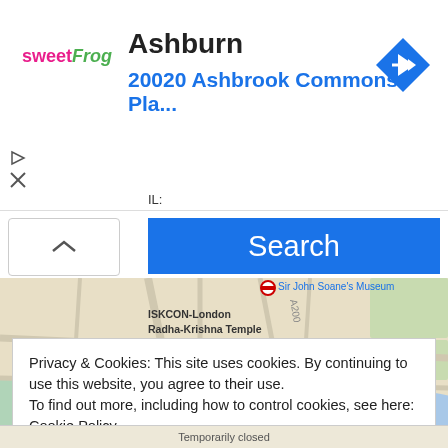[Figure (screenshot): Sweet Frog logo with colorful text]
Ashburn
20020 Ashbrook Commons Pla...
[Figure (screenshot): Blue navigation/direction icon diamond shaped]
[Figure (screenshot): Play/media button triangle icon]
[Figure (screenshot): X close button icon]
[Figure (screenshot): Search button blue bar]
[Figure (map): Google Maps showing Covent Garden, London area with streets, ISKCON-London Radha-Krishna Temple, ST GILES, Covent Garden label, National Gallery, Strand, tube stations, and River Thames]
Privacy & Cookies: This site uses cookies. By continuing to use this website, you agree to their use.
To find out more, including how to control cookies, see here: Cookie Policy
Close and accept